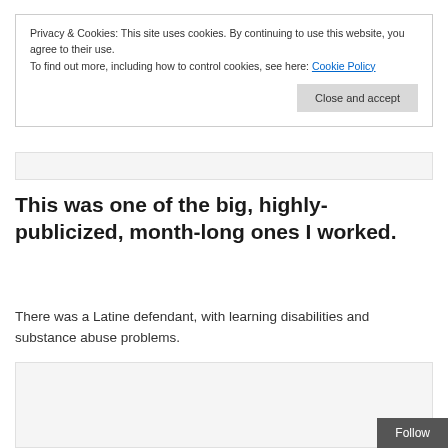Privacy & Cookies: This site uses cookies. By continuing to use this website, you agree to their use.
To find out more, including how to control cookies, see here: Cookie Policy
Close and accept
This was one of the big, highly-publicized, month-long ones I worked.
There was a Latine defendant, with learning disabilities and substance abuse problems.
Follow